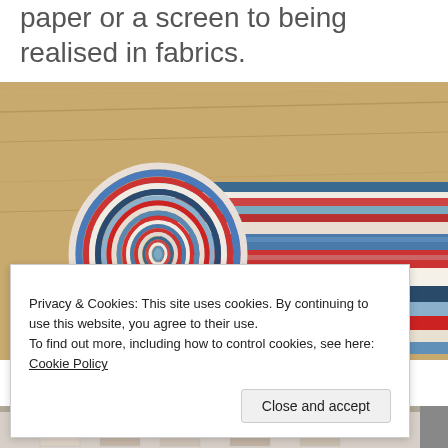paper or a screen to being realised in fabrics.
[Figure (photo): A rolled jelly roll of layered fabric strips in red, white, and blue patterns laid on a wooden surface, with the roll curled at one end.]
Privacy & Cookies: This site uses cookies. By continuing to use this website, you agree to their use.
To find out more, including how to control cookies, see here: Cookie Policy
Close and accept
[Figure (photo): Partial view of a second image at the bottom of the page showing fabric or quilt samples hung on a rack.]